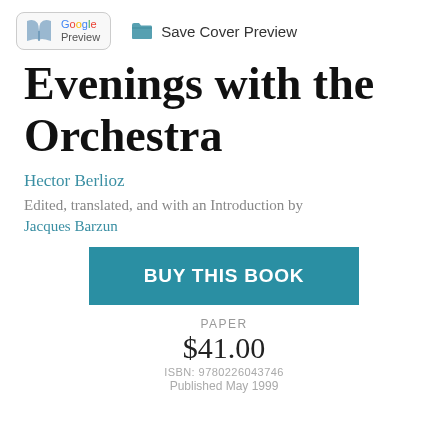[Figure (logo): Google Preview button with book icon and colorful Google text]
Save Cover Preview
Evenings with the Orchestra
Hector Berlioz
Edited, translated, and with an Introduction by
Jacques Barzun
BUY THIS BOOK
PAPER
$41.00
ISBN: 9780226043746
Published May 1999